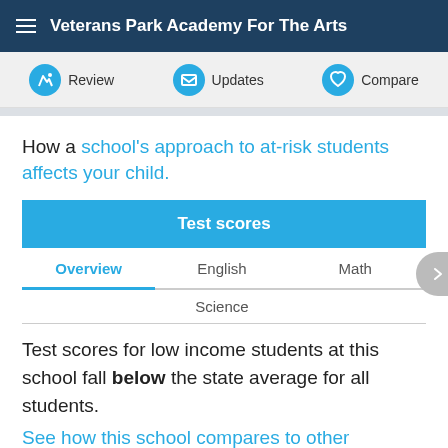Veterans Park Academy For The Arts
Review  Updates  Compare
How a school's approach to at-risk students affects your child.
Test scores
Overview  English  Math  Science
Test scores for low income students at this school fall below the state average for all students.
See how this school compares to other